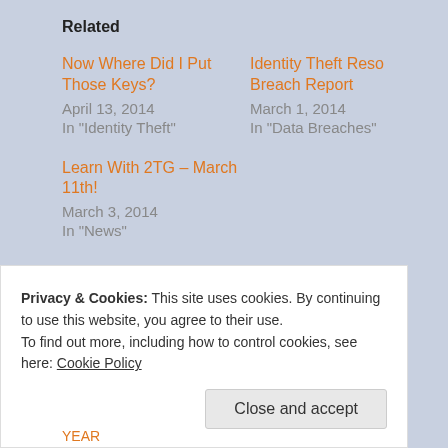Related
Now Where Did I Put Those Keys?
April 13, 2014
In "Identity Theft"
Identity Theft Reso… Breach Report
March 1, 2014
In "Data Breaches"
Learn With 2TG – March 11th!
March 3, 2014
In "News"
POSTED IN: NEWS
Privacy & Cookies: This site uses cookies. By continuing to use this website, you agree to their use.
To find out more, including how to control cookies, see here: Cookie Policy
Close and accept